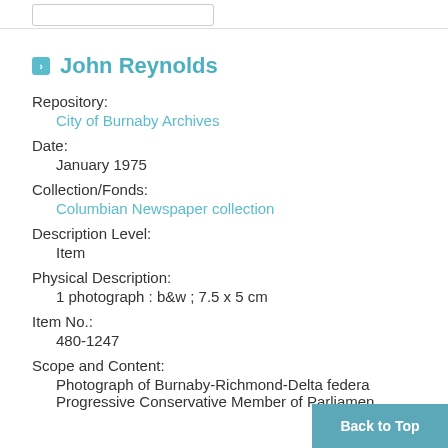John Reynolds
Repository:
City of Burnaby Archives
Date:
January 1975
Collection/Fonds:
Columbian Newspaper collection
Description Level:
Item
Physical Description:
1 photograph : b&w ; 7.5 x 5 cm
Item No.:
480-1247
Scope and Content:
Photograph of Burnaby-Richmond-Delta federal Progressive Conservative Member of Parliament